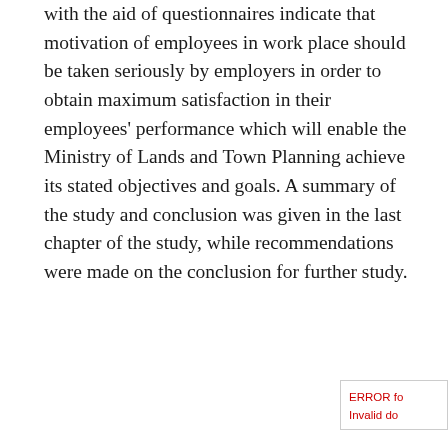with the aid of questionnaires indicate that motivation of employees in work place should be taken seriously by employers in order to obtain maximum satisfaction in their employees' performance which will enable the Ministry of Lands and Town Planning achieve its stated objectives and goals. A summary of the study and conclusion was given in the last chapter of the study, while recommendations were made on the conclusion for further study.